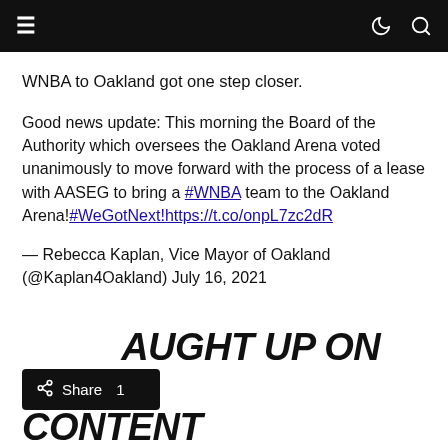≡  ☽ 🔍
WNBA to Oakland got one step closer.
Good news update: This morning the Board of the Authority which oversees the Oakland Arena voted unanimously to move forward with the process of a lease with AASEG to bring a #WNBA team to the Oakland Arena!#WeGotNext!https://t.co/onpL7zc2dR
— Rebecca Kaplan, Vice Mayor of Oakland (@Kaplan4Oakland) July 16, 2021
Share 1
CAUGHT UP ON NBN CONTENT